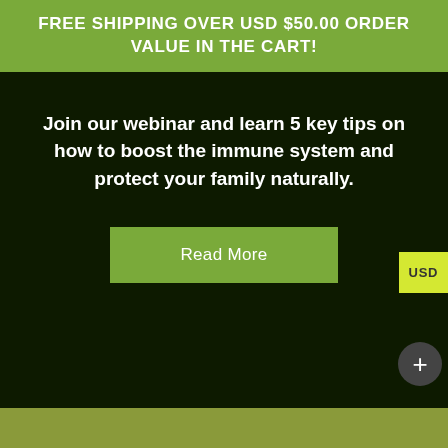FREE SHIPPING OVER USD $50.00 ORDER VALUE IN THE CART!
Join our webinar and learn 5 key tips on how to boost the immune system and protect your family naturally.
Read More
USD
+
OUR FEATURED SUPPLEMENTS
[Figure (photo): Partial view of a person's head/hair at the bottom right of the featured supplements section]